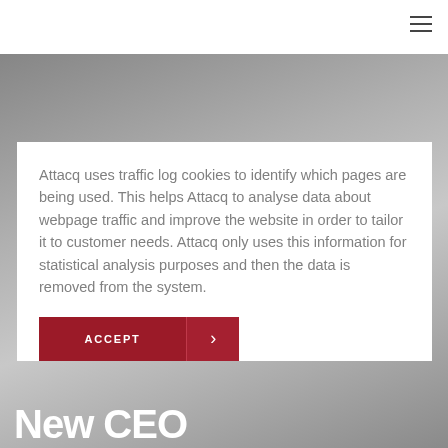Attacq uses traffic log cookies to identify which pages are being used. This helps Attacq to analyse data about webpage traffic and improve the website in order to tailor it to customer needs. Attacq only uses this information for statistical analysis purposes and then the data is removed from the system.
ACCEPT >
New CEO